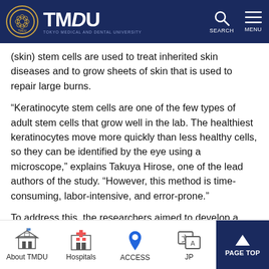TMDU - Tokyo Medical and Dental University
(skin) stem cells are used to treat inherited skin diseases and to grow sheets of skin that is used to repair large burns.
“Keratinocyte stem cells are one of the few types of adult stem cells that grow well in the lab. The healthiest keratinocytes move more quickly than less healthy cells, so they can be identified by the eye using a microscope,” explains Takuya Hirose, one of the lead authors of the study. “However, this method is time-consuming, labor-intensive, and error-prone.”
To address this, the researchers aimed to develop a system that would identify and track the movement of th... am ce'... matic
About TMDU | Hospitals | ACCESS | JP | PAGE TOP